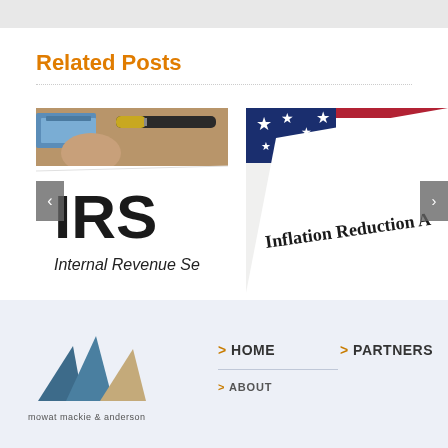Related Posts
[Figure (photo): IRS Internal Revenue Service document with pen, showing 'IRS' and 'Internal Revenue Se' text on white paper with office supplies in background]
[Figure (photo): Inflation Reduction Act document shown with American flag in background]
[Figure (logo): Mowat Mackie & Anderson logo — three triangular peaks in steel blue and tan/khaki colors]
mowat mackie & anderson
> HOME
> PARTNERS
> ABOUT